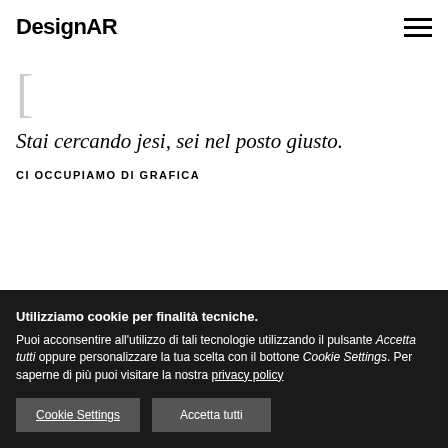DesignAR
[
Stai cercando jesi, sei nel posto giusto.
CI OCCUPIAMO DI GRAFICA
Utilizziamo cookie per finalità tecniche. Puoi acconsentire all'utilizzo di tali tecnologie utilizzando il pulsante Accetta tutti oppure personalizzare la tua scelta con il bottone Cookie Settings. Per saperne di più puoi visitare la nostra privacy policy
Cookie Settings | Accetta tutti